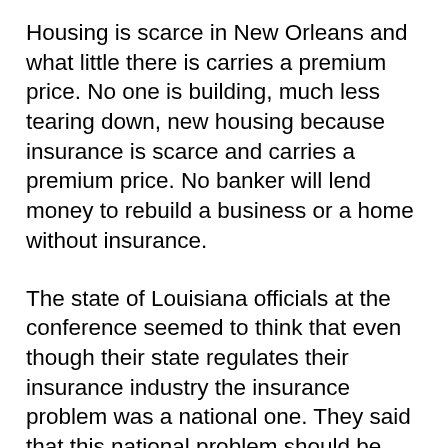Housing is scarce in New Orleans and what little there is carries a premium price. No one is building, much less tearing down, new housing because insurance is scarce and carries a premium price. No banker will lend money to rebuild a business or a home without insurance.
The state of Louisiana officials at the conference seemed to think that even though their state regulates their insurance industry the insurance problem was a national one. They said that this national problem should be solved by the federal government, presumably by using federal dollars or passing a law whereby every policy holder in the nation will promise to help rebuild New Orleans the next